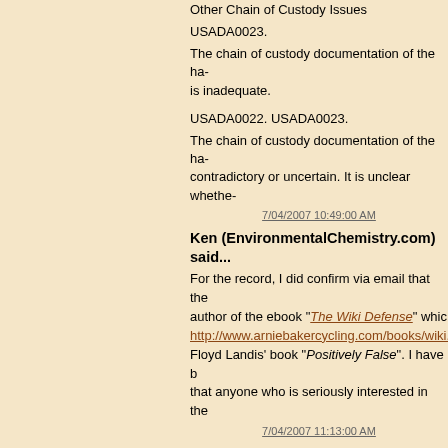Other Chain of Custody Issues
USADA0023.
The chain of custody documentation of the ha- is inadequate.
USADA0022. USADA0023.
The chain of custody documentation of the ha- contradictory or uncertain. It is unclear whethe-
7/04/2007 10:49:00 AM
Ken (EnvironmentalChemistry.com) said...
For the record, I did confirm via email that the author of the ebook "The Wiki Defense" which http://www.arniebakercycling.com/books/wiki.h Floyd Landis' book "Positively False". I have b that anyone who is seriously interested in the
7/04/2007 11:13:00 AM
Ken (EnvironmentalChemistry.com) said...
I do disagree with Dr. Arnie Baker on one poi- WADA rules on one point. He stated that:
Dr. Ayotte is correct in quoting the technical d- as a method of documenting custody is absur-